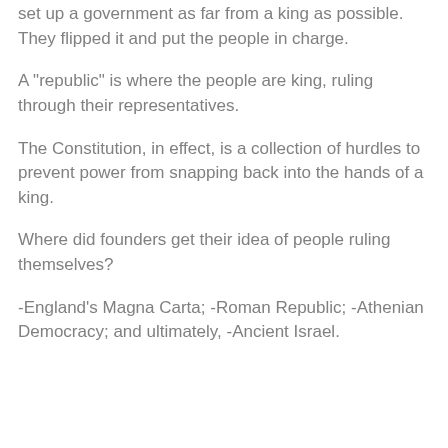set up a government as far from a king as possible. They flipped it and put the people in charge.
A "republic" is where the people are king, ruling through their representatives.
The Constitution, in effect, is a collection of hurdles to prevent power from snapping back into the hands of a king.
Where did founders get their idea of people ruling themselves?
-England's Magna Carta; -Roman Republic; -Athenian Democracy; and ultimately, -Ancient Israel.